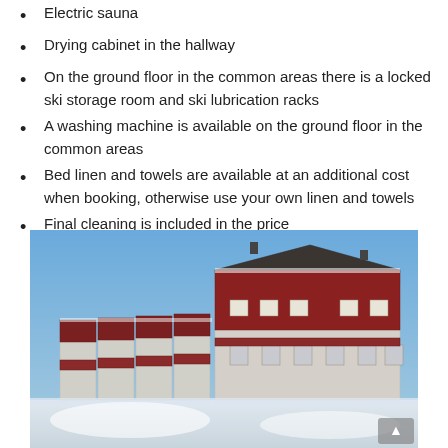Electric sauna
Drying cabinet in the hallway
On the ground floor in the common areas there is a locked ski storage room and ski lubrication racks
A washing machine is available on the ground floor in the common areas
Bed linen and towels are available at an additional cost when booking, otherwise use your own linen and towels
Final cleaning is included in the price
[Figure (photo): Exterior photo of a red and white multi-unit ski chalet building in winter with snow on the ground and blue sky]